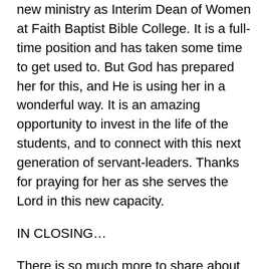new ministry as Interim Dean of Women at Faith Baptist Bible College. It is a full-time position and has taken some time to get used to. But God has prepared her for this, and He is using her in a wonderful way. It is an amazing opportunity to invest in the life of the students, and to connect with this next generation of servant-leaders. Thanks for praying for her as she serves the Lord in this new capacity.
IN CLOSING…
There is so much more to share about life and ministry since I last wrote, but this is enough for now. I plan to catch up a bit in a few installments over the next few weeks. With the Lord's help this can become a reality.
We have traveled many miles without incident (mechanical or door related), and we thank God for